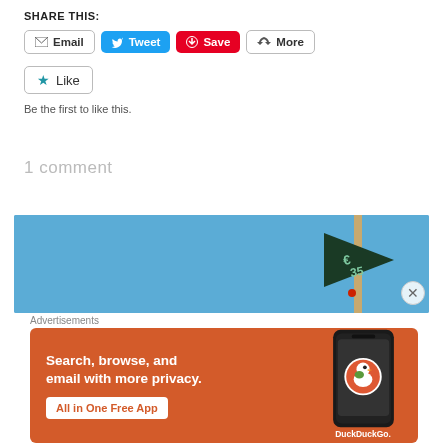SHARE THIS:
Email  Tweet  Save  More
Like
Be the first to like this.
1 comment
[Figure (photo): Photo of a dark flag with text on it showing '35' against a blue sky, with a wooden pole to the right]
Advertisements
[Figure (infographic): DuckDuckGo advertisement banner with orange background. Text: 'Search, browse, and email with more privacy. All in One Free App'. Shows a phone with DuckDuckGo logo.]